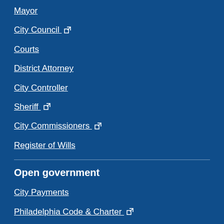Mayor
City Council ↗
Courts
District Attorney
City Controller
Sheriff ↗
City Commissioners ↗
Register of Wills
Open government
City Payments
Philadelphia Code & Charter ↗
City records
City agency regulations
Executive orders